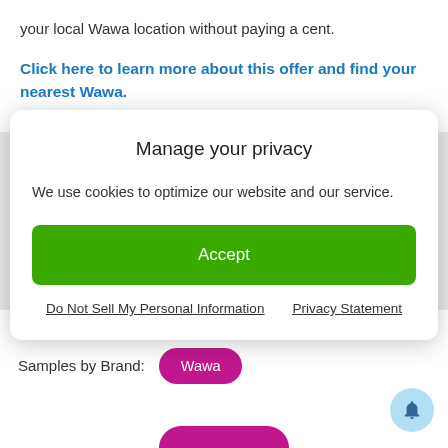your local Wawa location without paying a cent.
Click here to learn more about this offer and find your nearest Wawa.
Manage your privacy
We use cookies to optimize our website and our service.
Accept
Do Not Sell My Personal Information   Privacy Statement
the US.
Samples by Brand:
Wawa